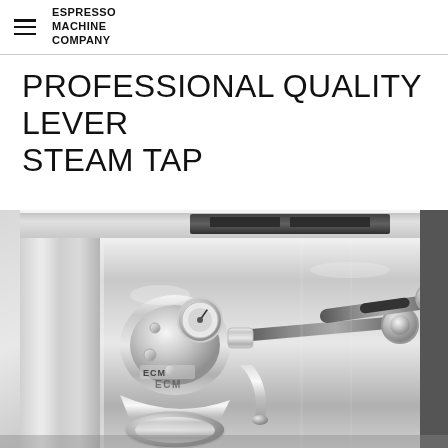ESPRESSO MACHINE COMPANY
PROFESSIONAL QUALITY LEVER STEAM TAP
[Figure (photo): Close-up photograph of a chrome/stainless steel ECM espresso machine showing the lever steam tap, steam wand, and group head in highly polished chrome finish]